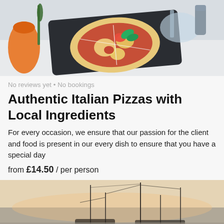[Figure (photo): Photo of a Margherita pizza with fresh basil leaves on a dark slate board, with rosemary, glasses, and kitchen items in the background on a white counter]
No reviews yet • No bookings
Authentic Italian Pizzas with Local Ingredients
For every occasion, we ensure that our passion for the client and food is present in our every dish to ensure that you have a special day
from £14.50 / per person
[Figure (photo): Outdoor photo showing a marina or seaside scene at dusk/sunset with masts and rigging silhouetted against a pale orange and grey sky]